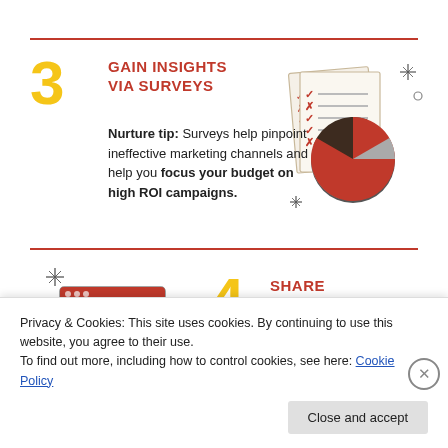3 GAIN INSIGHTS VIA SURVEYS
Nurture tip: Surveys help pinpoint ineffective marketing channels and help you focus your budget on high ROI campaigns.
[Figure (illustration): Illustration of a checklist/survey document with checkmarks and X marks, overlaid with a pie chart showing segments in orange, dark brown, and gray. Sparkle/diamond decorations around it.]
4 SHARE EDUCATIONAL CONTENT
[Figure (illustration): Illustration of a browser window with content blocks, with a sparkle decoration above it.]
Privacy & Cookies: This site uses cookies. By continuing to use this website, you agree to their use.
To find out more, including how to control cookies, see here: Cookie Policy
Close and accept